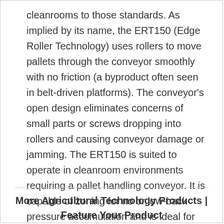cleanrooms to those standards. As implied by its name, the ERT150 (Edge Roller Technology) uses rollers to move pallets through the conveyor smoothly with no friction (a byproduct often seen in belt-driven platforms). The conveyor's open design eliminates concerns of small parts or screws dropping into rollers and causing conveyor damage or jamming. The ERT150 is suited to operate in cleanroom environments requiring a pallet handling conveyor. It is capable of zoning for no or low-back pressure accumulation and is ideal for automation assembly applications within industries including medical devices, electronics, consumer goods among others.
More Agricultural Technology Products | Feature Your Product